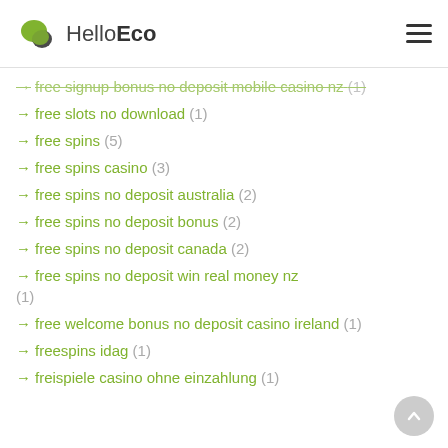HelloEco
→ free signup bonus no deposit mobile casino nz (1)
→ free slots no download (1)
→ free spins (5)
→ free spins casino (3)
→ free spins no deposit australia (2)
→ free spins no deposit bonus (2)
→ free spins no deposit canada (2)
→ free spins no deposit win real money nz (1)
→ free welcome bonus no deposit casino ireland (1)
→ freespins idag (1)
→ freispiele casino ohne einzahlung (1)